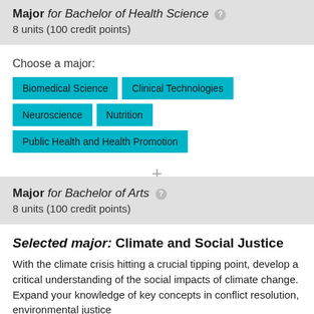Major for Bachelor of Health Science
8 units (100 credit points)
Choose a major:
Biomedical Science
Clinical Technologies
Neuroscience
Nutrition
Public Health and Health Promotion
Major for Bachelor of Arts
8 units (100 credit points)
Selected major: Climate and Social Justice
With the climate crisis hitting a crucial tipping point, develop a critical understanding of the social impacts of climate change. Expand your knowledge of key concepts in conflict resolution, environmental justice